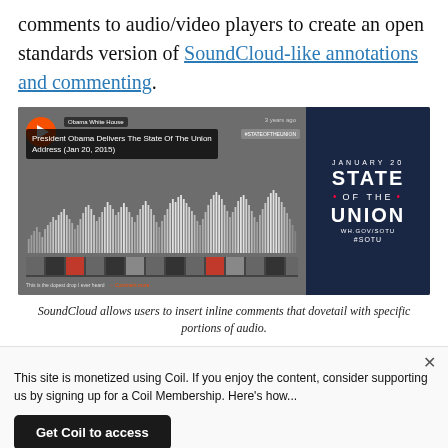comments to audio/video players to create an open standards version of SoundCloud-like annotations and commenting.
[Figure (screenshot): Screenshot of a SoundCloud-style audio player showing President Obama Delivers The State Of The Union Address (Jan 20, 2015) with waveform visualization and a State of the Union January 20 graphic on the right side.]
SoundCloud allows users to insert inline comments that dovetail with specific portions of audio.
This site is monetized using Coil. If you enjoy the content, consider supporting us by signing up for a Coil Membership. Here's how...
Get Coil to access